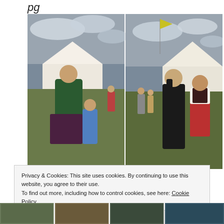pg
[Figure (photo): Two side-by-side outdoor photos at what appears to be a medieval or renaissance fair. Left photo: a smiling woman in green and dark medieval costume dancing with a child in a blue cape on a grassy field, white tents in the background under a cloudy sky. Right photo: a woman with long dark hair and a man in red pants and a dark vest dancing together on the same grassy field, same tents and cloudy sky in the background.]
Privacy & Cookies: This site uses cookies. By continuing to use this website, you agree to their use.
To find out more, including how to control cookies, see here: Cookie Policy
[Figure (photo): Bottom strip showing partial thumbnails of four images, partially visible at the bottom of the page.]